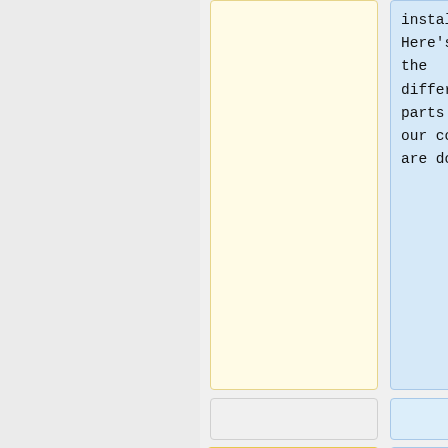install. Here's what the different parts of our command are doing:
This command will detect some information about your system in order to install RT properly, and decide which set
* <code>PERL=/opt/rt5venv/bin/perl</code> ensures RT uses the virtualenv you set up.